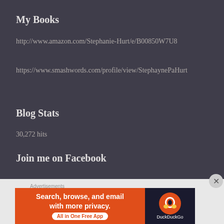My Books
http://www.amazon.com/Stephanie-Hurt/e/B00850W7U8
https://www.smashwords.com/profile/view/StephaniePayneHurt
Blog Stats
30,272 hits
Join me on Facebook
Advertisements
[Figure (screenshot): DuckDuckGo advertisement banner: 'Search, browse, and email with more privacy. All in One Free App' with DuckDuckGo logo on dark background]